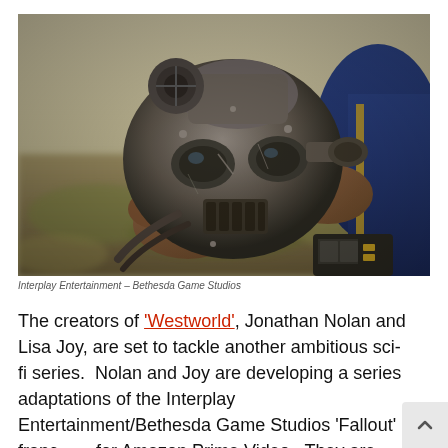[Figure (photo): A person in a blue vault suit holding a weathered power armor helmet from the Fallout video game series, set against a grassy outdoor background.]
Interplay Entertainment – Bethesda Game Studios
The creators of 'Westworld', Jonathan Nolan and Lisa Joy, are set to tackle another ambitious sci-fi series.  Nolan and Joy are developing a series adaptations of the Interplay Entertainment/Bethesda Game Studios 'Fallout' franchise for Amazon Prime Video.  They are producing through their